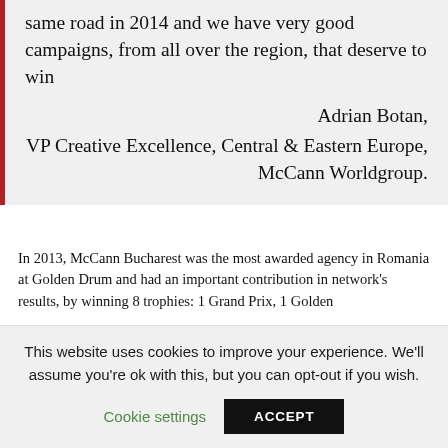same road in 2014 and we have very good campaigns, from all over the region, that deserve to win
Adrian Botan,
VP Creative Excellence, Central & Eastern Europe, McCann Worldgroup.
In 2013, McCann Bucharest was the most awarded agency in Romania at Golden Drum and had an important contribution in network's results, by winning 8 trophies: 1 Grand Prix, 1 Golden
This website uses cookies to improve your experience. We'll assume you're ok with this, but you can opt-out if you wish.
Cookie settings
ACCEPT